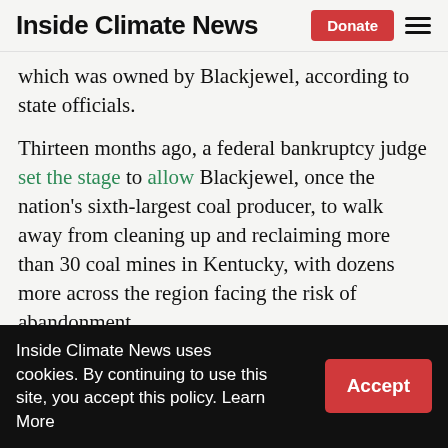Inside Climate News
which was owned by Blackjewel, according to state officials.
Thirteen months ago, a federal bankruptcy judge set the stage to allow Blackjewel, once the nation's sixth-largest coal producer, to walk away from cleaning up and reclaiming more than 30 coal mines in Kentucky, with dozens more across the region facing the risk of abandonment.
Negotiations with the Indemnity National Insurance Co. regarding a number of Blackjewel and Resolution permits began in
Inside Climate News uses cookies. By continuing to use this site, you accept this policy. Learn More